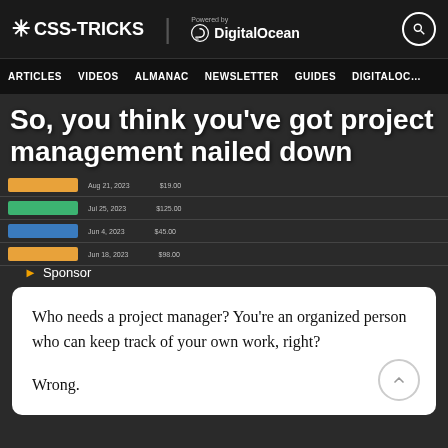* CSS-TRICKS | Powered by DigitalOcean
ARTICLES  VIDEOS  ALMANAC  NEWSLETTER  GUIDES  DIGITALOCEAN
So, you think you’ve got project management nailed down
[Figure (screenshot): Screenshot of a project management tool showing a table with rows of tasks, colored status badges (orange, green, blue), dates, and other columns]
▸ Sponsor
Who needs a project manager? You’re an organized person who can keep track of your own work, right?
Wrong.